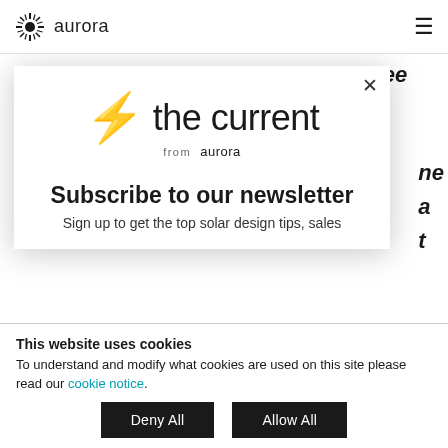aurora
customers should look closely to see how the rate of increase compares to historic
[Figure (screenshot): Newsletter subscription modal popup with lightning bolt icon, 'the current from aurora' branding, 'Subscribe to our newsletter' heading, and text 'Sign up to get the top solar design tips, sales']
This website uses cookies
To understand and modify what cookies are used on this site please read our cookie notice.
Deny All
Allow All